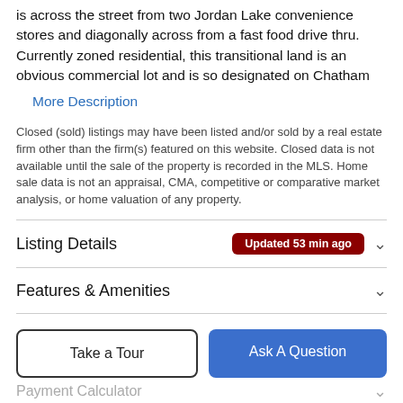is across the street from two Jordan Lake convenience stores and diagonally across from a fast food drive thru. Currently zoned residential, this transitional land is an obvious commercial lot and is so designated on Chatham
More Description
Closed (sold) listings may have been listed and/or sold by a real estate firm other than the firm(s) featured on this website. Closed data is not available until the sale of the property is recorded in the MLS. Home sale data is not an appraisal, CMA, competitive or comparative market analysis, or home valuation of any property.
Listing Details  Updated 53 min ago
Features & Amenities
Schools
Take a Tour
Ask A Question
Payment Calculator